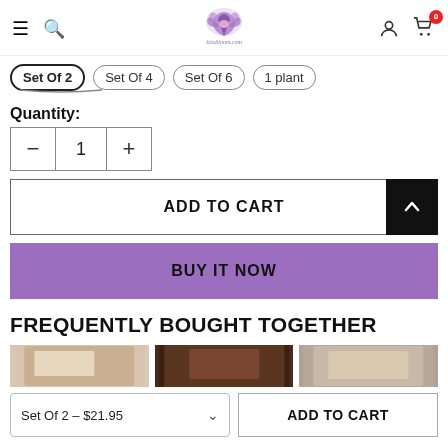kissbloom.com navigation header with hamburger menu, search, logo, account, and cart icons
Set Of 2 (active), Set Of 4, Set Of 6, 1 plant
Quantity:
- 1 +
ADD TO CART
BUY IT NOW
FREQUENTLY BOUGHT TOGETHER
[Figure (photo): Three product thumbnail images side by side]
Set Of 2 – $21.95  v    ADD TO CART